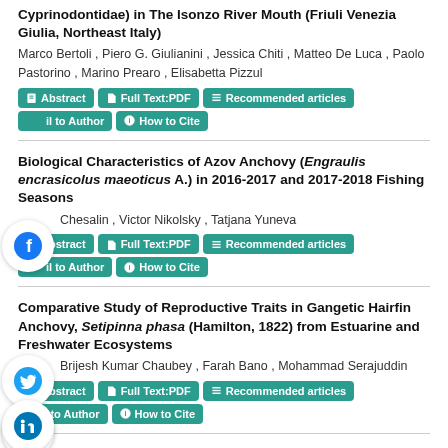Cyprinodontidae) in The Isonzo River Mouth (Friuli Venezia Giulia, Northeast Italy)
Marco Bertoli , Piero G. Giulianini , Jessica Chiti , Matteo De Luca , Paolo Pastorino , Marino Prearo , Elisabetta Pizzul
Biological Characteristics of Azov Anchovy (Engraulis encrasicolus maeoticus A.) in 2016-2017 and 2017-2018 Fishing Seasons
Chesalin , Victor Nikolsky , Tatjana Yuneva
Comparative Study of Reproductive Traits in Gangetic Hairfin Anchovy, Setipinna phasa (Hamilton, 1822) from Estuarine and Freshwater Ecosystems
Brijesh Kumar Chaubey , Farah Bano , Mohammad Serajuddin